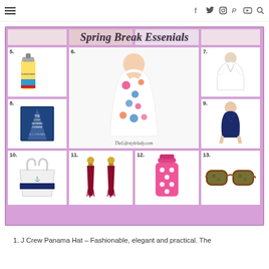Navigation bar with hamburger menu and social icons: f (Facebook), Twitter, Instagram, Pinterest, YouTube, Search
[Figure (infographic): Spring Break Essentials collage grid with numbered product photos (items 5-13): 5=sunscreen spray, 6=floral maxi dress (center large), 7=white cover-up, 8=book 'The Light Between Oceans', 9=navy one-piece swimsuit, 10=navy stripe tote bag, 11=red tassel earrings, 12=pink polka dot water bottle, 13=tortoise sunglasses. Title reads 'Spring Break Essenials' in script. Watermark: TheLifestylelady.com]
1. J Crew Panama Hat – Fashionable, elegant and practical. The